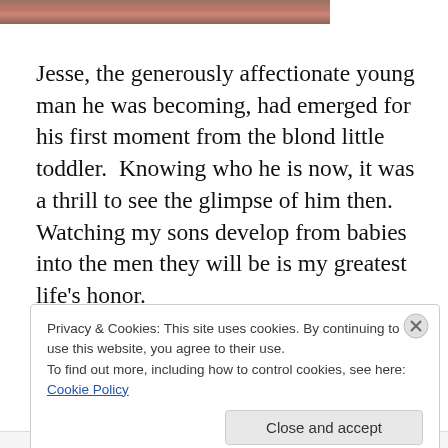[Figure (photo): Partial photo strip visible at top of page, showing people with red tones]
Jesse, the generously affectionate young man he was becoming, had emerged for his first moment from the blond little toddler.  Knowing who he is now, it was a thrill to see the glimpse of him then.  Watching my sons develop from babies into the men they will be is my greatest life's honor.
Privacy & Cookies: This site uses cookies. By continuing to use this website, you agree to their use.
To find out more, including how to control cookies, see here: Cookie Policy
Close and accept